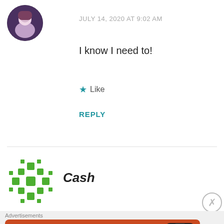[Figure (photo): Circular user avatar photo showing a person in formal/decorated attire with a dark/purple background]
JULY 14, 2020 AT 9:02 AM
I know I need to!
★ Like
REPLY
[Figure (logo): Green pixel/diamond pattern avatar for user 'Cash']
Cash
[Figure (screenshot): DuckDuckGo advertisement banner: 'Search, browse, and email with more privacy. All in One Free App' with phone mockup and DuckDuckGo logo]